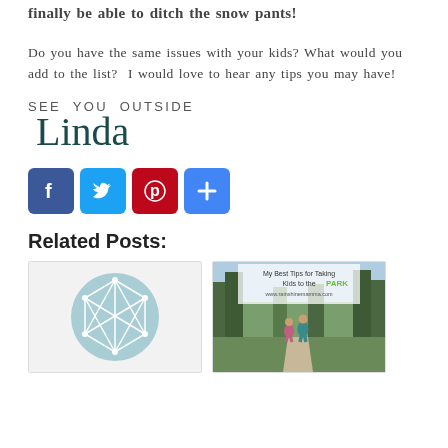finally be able to ditch the snow pants!
Do you have the same issues with your kids? What would you add to the list? I would love to hear any tips you may have!
[Figure (illustration): Handwritten-style sign-off reading 'SEE YOU OUTSIDE' in spaced uppercase letters above a cursive 'Linda' signature in dark teal]
[Figure (infographic): Social share buttons: Facebook (blue), Twitter (light blue), Pinterest (red), Share/More (blue plus sign)]
Related Posts:
[Figure (illustration): Placeholder thumbnail: light blue circle with geometric white wireframe polyhedron inside]
[Figure (photo): Thumbnail image with text 'My Best Tips for Taking Kids to the PARK www.rainshinemamma.com' overlaid on a forest scene with two children walking hand-in-hand]